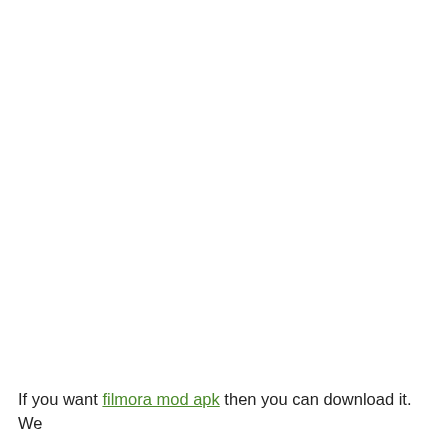If you want filmora mod apk then you can download it. We